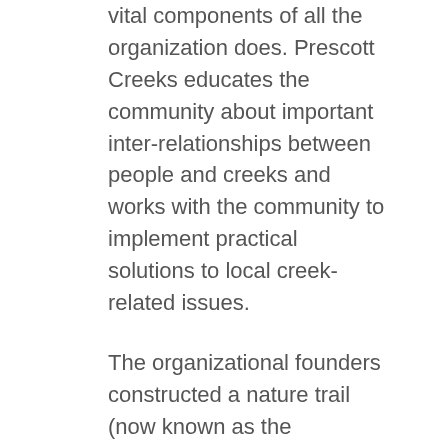vital components of all the organization does. Prescott Creeks educates the community about important inter-relationships between people and creeks and works with the community to implement practical solutions to local creek-related issues.
The organizational founders constructed a nature trail (now known as the Downtown Greenway) that provides an alternative travel route and immersive nature experience in the heart of Prescott. The group later established the Watson Woods Riparian Preserve in the 126 acres of streamside habitat above Watson Lake.
One of the key activities for Prescott Creeks is